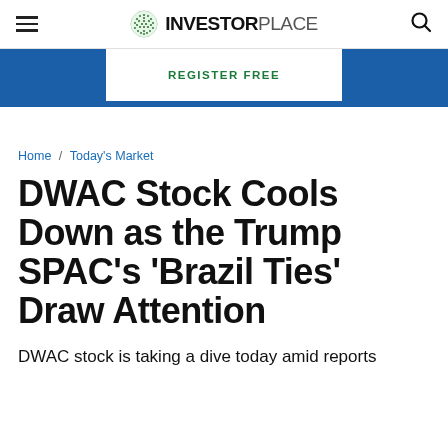InvestorPlace
REGISTER FREE
Home / Today's Market
DWAC Stock Cools Down as the Trump SPAC's 'Brazil Ties' Draw Attention
DWAC stock is taking a dive today amid reports